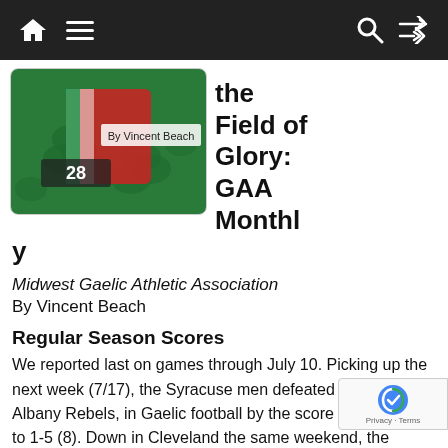Navigation bar with home, menu, search, and shuffle icons
[Figure (photo): Book cover image showing a GAA player with jersey number 28, shamrock background, text 'By Vincent Beach']
the Field of Glory: GAA Monthly
Midwest Gaelic Athletic Association
By Vincent Beach
Regular Season Scores
We reported last on games through July 10.  Picking up the next week (7/17), the Syracuse men defeated the hosts, Albany Rebels, in Gaelic football by the score of 5-11 (26) to 1-5 (8).  Down in Cleveland the same weekend, the Saints hosted a double hea at Páirc na Naomh against the footballers – Pittsburgh Celtics and Pittsburgh Banshees.  The